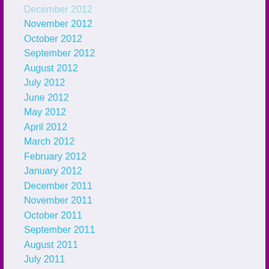December 2012
November 2012
October 2012
September 2012
August 2012
July 2012
June 2012
May 2012
April 2012
March 2012
February 2012
January 2012
December 2011
November 2011
October 2011
September 2011
August 2011
July 2011
May 2011
March 2011
February 2011
January 2011
December 2010
November 2010